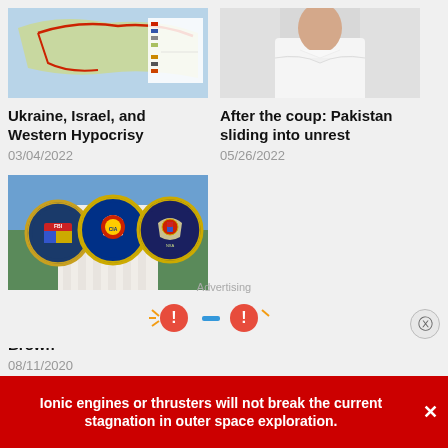[Figure (photo): Map of Ukraine region with red borders and legend]
Ukraine, Israel, and Western Hypocrisy
03/04/2022
[Figure (photo): Person in white shirt with arms crossed]
After the coup: Pakistan sliding into unrest
05/26/2022
[Figure (photo): FBI, CIA, and NSA seals overlaid on government building]
Exclusive: Joe Biden's Foreign Policy-by Steve Brown
08/11/2020
Advertising
Ionic engines or thrusters will not break the current stagnation in outer space exploration.